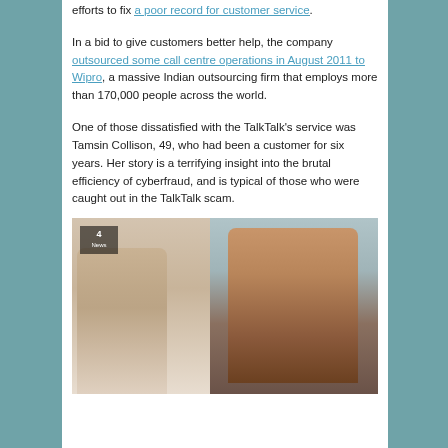efforts to fix a poor record for customer service.
In a bid to give customers better help, the company outsourced some call centre operations in August 2011 to Wipro, a massive Indian outsourcing firm that employs more than 170,000 people across the world.
One of those dissatisfied with the TalkTalk's service was Tamsin Collison, 49, who had been a customer for six years. Her story is a terrifying insight into the brutal efficiency of cyberfraud, and is typical of those who were caught out in the TalkTalk scam.
[Figure (photo): A Channel 4 News screenshot showing two people in conversation — a person with their back to the camera on the left, and a woman with blonde/auburn hair wearing a brown leather jacket and scarf on the right, with a brick building visible through windows in the background.]